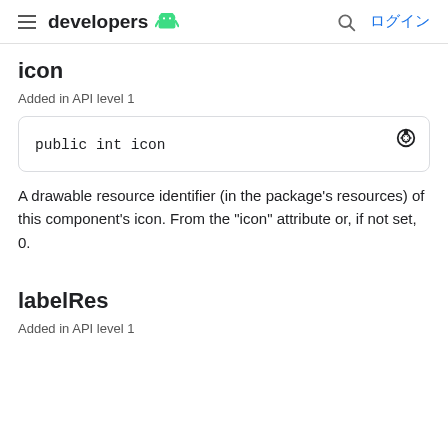developers  ログイン
icon
Added in API level 1
A drawable resource identifier (in the package's resources) of this component's icon. From the "icon" attribute or, if not set, 0.
labelRes
Added in API level 1